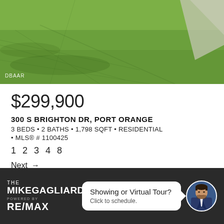[Figure (photo): Aerial or ground-level photo of green lawn/grass with a concrete path or driveway edge visible in the upper right corner. Watermark text 'DBAAR' in lower left.]
$299,900
300 S BRIGHTON DR, PORT ORANGE
3 BEDS • 2 BATHS • 1,798 SQFT • RESIDENTIAL • MLS® # 1100425
1 2 3 4 8
Next →
THE MIKE GAGLIARD... POWERED BY RE/MAX | Showing or Virtual Tour? Click to schedule.